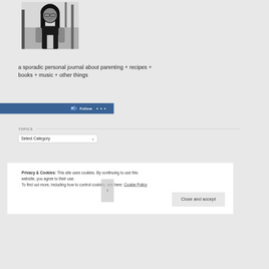[Figure (photo): Black and white profile photo of a woman with long dark hair and glasses, smiling, in an outdoor setting]
a sporadic personal journal about parenting + recipes + books + music + other things
TOPICS
Select Category dropdown
Privacy & Cookies: This site uses cookies. By continuing to use this website, you agree to their use.
To find out more, including how to control cookies, see here: Cookie Policy
Close and accept
Follow ...